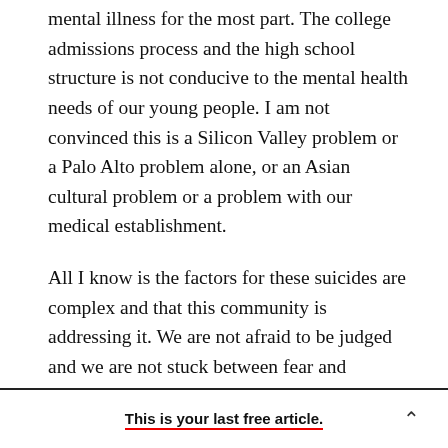mental illness for the most part. The college admissions process and the high school structure is not conducive to the mental health needs of our young people. I am not convinced this is a Silicon Valley problem or a Palo Alto problem alone, or an Asian cultural problem or a problem with our medical establishment.
All I know is the factors for these suicides are complex and that this community is addressing it. We are not afraid to be judged and we are not stuck between fear and
This is your last free article.